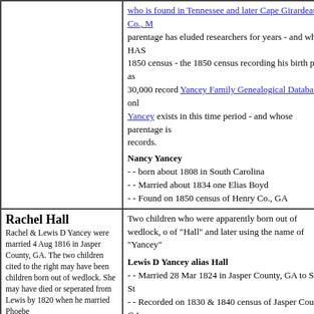| [left blank] | who is found in Tennessee and later Cape Girardeau Co., M... parentage has eluded researchers for years - and who HAS 1850 census - the 1850 census recording his birth place as 30,000 record Yancey Family Genealogical Database - onl Yancey exists in this time period - and whose parentage is records. Nancy Yancey - - born about 1808 in South Carolina - - Married about 1834 one Elias Boyd - - Found on 1850 census of Henry Co., GA |
| Rachel Hall
Rachel & Lewis D Yancey were married 4 Aug 1816 in Jasper County, GA. The two children cited to the right may have been children born out of wedlock. She may have died or seperated from Lewis by 1820 when he married Phoebe | Two children who were apparently born out of wedlock, o of "Hall" and later using the name of "Yancey"

Lewis D Yancey alias Hall
- - Married 28 Mar 1824 in Jasper County, GA to Sarah St
- - Recorded on 1830 & 1840 census of Jasper County, GA
- - State Records show Lewis Yancey alias Hall being "leg
- - Dead by 1850 census. Wife & children living in Jasepr s
James Yancey alias Hall
- - Married 24 Sep 1818 in Jasper County, GA to Martha K
- - Recorded on 1820 Census of Jasper County, GA
- - Probably deceased by 1830 census |
| Phoebe Pate
Phoebe & Lewis D Yancey were married 27 Jun 1820 in Jasper County. She is recorded on every census | Drucilla Yancey,
- - born about 1821 ?? (broad estimate)
- - married 2 Sep 1841 in Jasper Co., GA - John Howard B
- - married 1 Jan 1846 in Jasper Co., GA - James T. Barro |